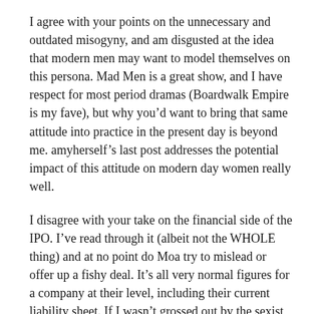I agree with your points on the unnecessary and outdated misogyny, and am disgusted at the idea that modern men may want to model themselves on this persona. Mad Men is a great show, and I have respect for most period dramas (Boardwalk Empire is my fave), but why you'd want to bring that same attitude into practice in the present day is beyond me. amyherself's last post addresses the potential impact of this attitude on modern day women really well.
I disagree with your take on the financial side of the IPO. I've read through it (albeit not the WHOLE thing) and at no point do Moa try to mislead or offer up a fishy deal. It's all very normal figures for a company at their level, including their current liability sheet. If I wasn't grossed out by the sexist angle they've taken, i'd seriously consider investment, and I feel a LOT of less moralistic people than me will indeed be jumping at the chance.
I feel the financial “woes” could have been better informed